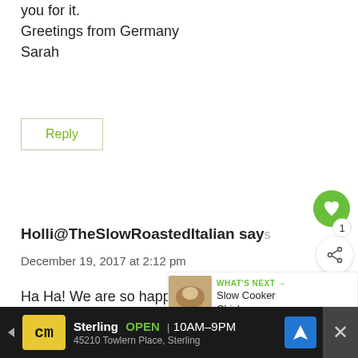you for it.
Greetings from Germany
Sarah
Reply
Holli@TheSlowRoastedItalian says
December 19, 2017 at 2:12 pm
Ha Ha! We are so happy you enjoy — them, Sarah!!
[Figure (screenshot): WHAT'S NEXT arrow label with Slow Cooker Chicken... thumbnail]
[Figure (screenshot): Advertisement bar: cm logo, Sterling OPEN 10AM-9PM, 45210 Towlern Place, Sterling, navigation icon, close button]